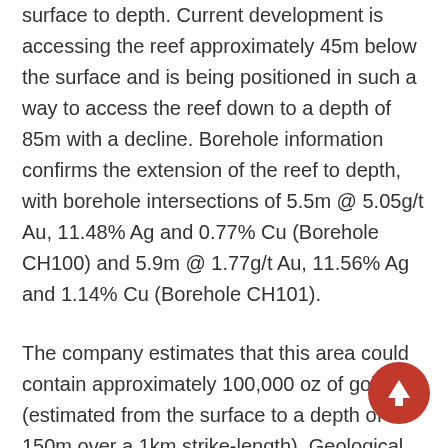surface to depth. Current development is accessing the reef approximately 45m below the surface and is being positioned in such a way to access the reef down to a depth of 85m with a decline. Borehole information confirms the extension of the reef to depth, with borehole intersections of 5.5m @ 5.05g/t Au, 11.48% Ag and 0.77% Cu (Borehole CH100) and 5.9m @ 1.77g/t Au, 11.56% Ag and 1.14% Cu (Borehole CH101).
The company estimates that this area could contain approximately 100,000 oz of gold (estimated from the surface to a depth of 150m over a 1km strike-length). Geological modeling is underway and a detailed drilling programme is being planned to prove this drill target up over the next four months.